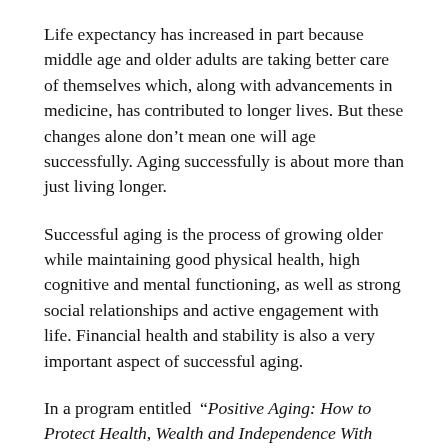Life expectancy has increased in part because middle age and older adults are taking better care of themselves which, along with advancements in medicine, has contributed to longer lives. But these changes alone don't mean one will age successfully. Aging successfully is about more than just living longer.
Successful aging is the process of growing older while maintaining good physical health, high cognitive and mental functioning, as well as strong social relationships and active engagement with life. Financial health and stability is also a very important aspect of successful aging.
In a program entitled “Positive Aging: How to Protect Health, Wealth and Independence With Proactive Planning” on April 6 at 11am, join us for an